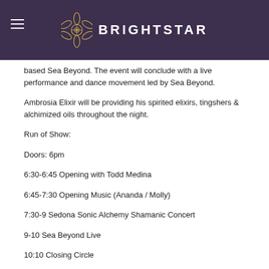BRIGHTSTAR
based Sea Beyond. The event will conclude with a live performance and dance movement led by Sea Beyond.
Ambrosia Elixir will be providing his spirited elixirs, tingshers & alchimized oils throughout the night.
Run of Show:
Doors: 6pm
6:30-6:45 Opening with Todd Medina
6:45-7:30 Opening Music (Ananda / Molly)
7:30-9 Sedona Sonic Alchemy Shamanic Concert
9-10 Sea Beyond Live
10:10 Closing Circle